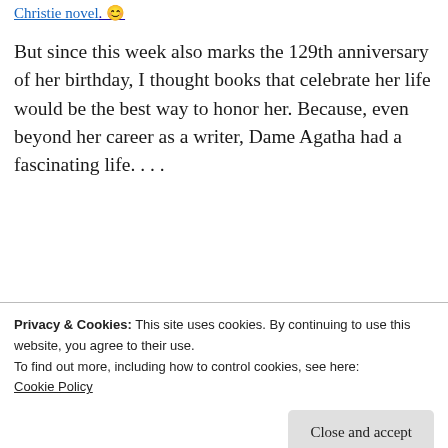Christie novel. 😊
But since this week also marks the 129th anniversary of her birthday, I thought books that celebrate her life would be the best way to honor her. Because, even beyond her career as a writer, Dame Agatha had a fascinating life. . . .
[Figure (screenshot): App advertisement banner with light blue background showing 'the go.' text and 'GET THE APP' link with WordPress logo icon]
Privacy & Cookies: This site uses cookies. By continuing to use this website, you agree to their use.
To find out more, including how to control cookies, see here:
Cookie Policy
Close and accept